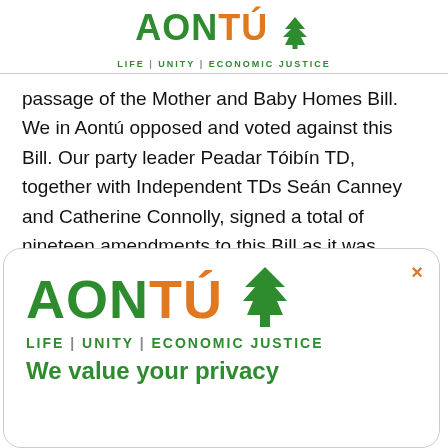[Figure (logo): Aontú logo with tree icon and tagline LIFE | UNITY | ECONOMIC JUSTICE]
passage of the Mother and Baby Homes Bill. We in Aontú opposed and voted against this Bill. Our party leader Peadar Tóibín TD, together with Independent TDs Seán Canney and Catherine Connolly, signed a total of nineteen amendments to this Bill as it was moving through the Oireachtas".
[Figure (logo): Aontú modal overlay with logo (AONTÚ with tree) and tagline LIFE | UNITY | ECONOMIC JUSTICE, with close button (×) and partial text 'We value your privacy']